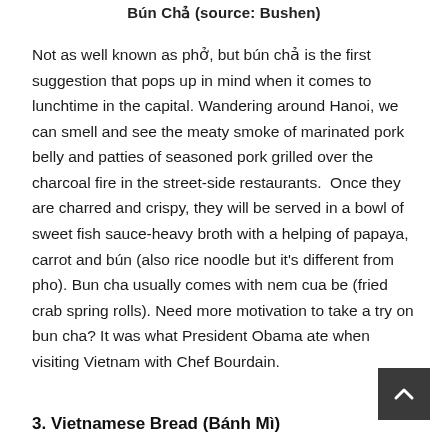Bún Chả (source: Bushen)
Not as well known as phở, but bún chả is the first suggestion that pops up in mind when it comes to lunchtime in the capital. Wandering around Hanoi, we can smell and see the meaty smoke of marinated pork belly and patties of seasoned pork grilled over the charcoal fire in the street-side restaurants.  Once they are charred and crispy, they will be served in a bowl of sweet fish sauce-heavy broth with a helping of papaya, carrot and bún (also rice noodle but it's different from pho). Bun cha usually comes with nem cua be (fried crab spring rolls). Need more motivation to take a try on bun cha? It was what President Obama ate when visiting Vietnam with Chef Bourdain.
3. Vietnamese Bread (Bánh Mì)